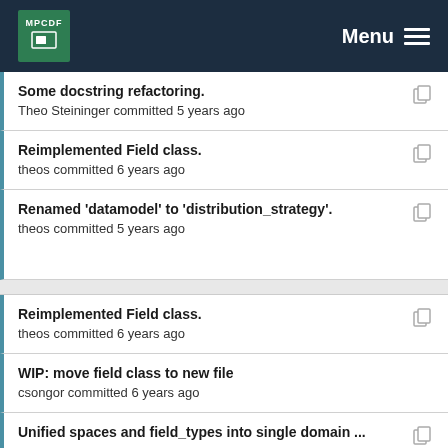MPCDF | Menu
Some docstring refactoring.
Theo Steininger committed 5 years ago
Reimplemented Field class.
theos committed 6 years ago
Renamed 'datamodel' to 'distribution_strategy'.
theos committed 5 years ago
Reimplemented Field class.
theos committed 6 years ago
WIP: move field class to new file
csongor committed 6 years ago
Unified spaces and field_types into single domain ...
Theo Steininger committed 5 years ago
Felix added docstrings to all methods of field (yes...